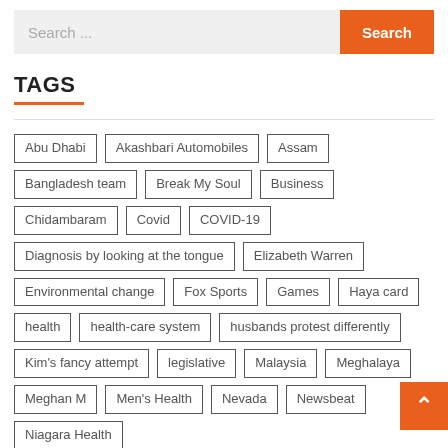Search ...
Search
TAGS
Abu Dhabi
Akashbari Automobiles
Assam
Bangladesh team
Break My Soul
Business
Chidambaram
Covid
COVID-19
Diagnosis by looking at the tongue
Elizabeth Warren
Environmental change
Fox Sports
Games
Haya card
health
health-care system
husbands protest differently
Kim's fancy attempt
legislative
Malaysia
Meghalaya
Meghan M...
Men's Health
Nevada
Newsbeat
Niagara Health